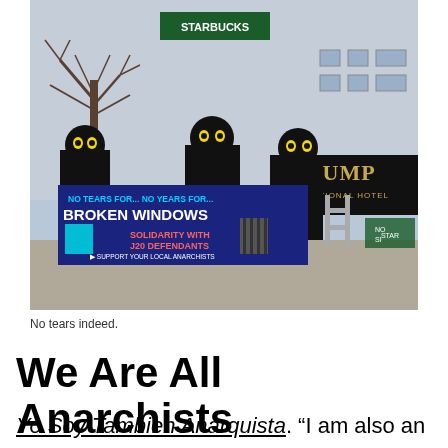[Figure (photo): Three people dressed in black with emoji-style yellow eyes on their masked faces, holding a large dark blue banner in front of what appears to be the Trump International Hotel. The banner reads: 'NO TEARS FOR... NO YEARS FOR... BROKEN WINDOWS SOLIDARITY WITH J20 DEFENDANTS SUPPORT YOUR LOCAL ANARCHISTS'. A Starbucks sign is visible in the background.]
No tears indeed.
We Are All Anarchists
Yo Soy Tambien Anarquista. “I am also an